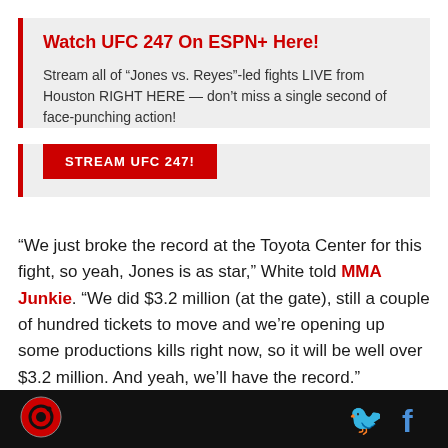Watch UFC 247 On ESPN+ Here!
Stream all of “Jones vs. Reyes”-led fights LIVE from Houston RIGHT HERE — don’t miss a single second of face-punching action!
STREAM UFC 247!
“We just broke the record at the Toyota Center for this fight, so yeah, Jones is as star,” White told MMA Junkie. “We did $3.2 million (at the gate), still a couple of hundred tickets to move and we’re opening up some productions kills right now, so it will be well over $3.2 million. And yeah, we’ll have the record.”
[Figure (logo): MMA Junkie logo - red circle with camera icon]
[Figure (logo): Twitter bird icon in blue and Facebook f icon in blue]